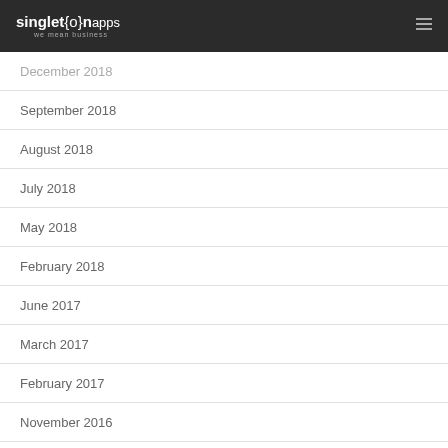singleton apps — we mean business
December 2018
September 2018
August 2018
July 2018
May 2018
February 2018
June 2017
March 2017
February 2017
November 2016